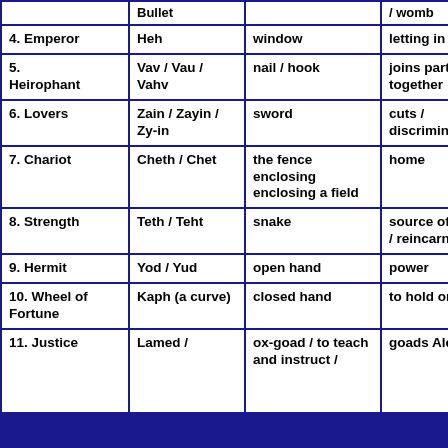| Card | Hebrew Letter | Symbol Meaning | Deeper Meaning |
| --- | --- | --- | --- |
|  | Bullet |  | / womb |
| 4. Emperor | Heh | window | letting in light |
| 5. Heirophant | Vav / Vau / Vahv | nail / hook | joins parts together |
| 6. Lovers | Zain / Zayin / Zy-in | sword | cuts / discrimination |
| 7. Chariot | Cheth / Chet | the fence enclosing enclosing a field | home |
| 8. Strength | Teth / Teht | snake | source of illusion / reincarnation |
| 9. Hermit | Yod / Yud | open hand | power |
| 10. Wheel of Fortune | Kaph (a curve) | closed hand | to hold on to |
| 11. Justice | Lamed / | ox-goad / to teach and instruct / | goads Aleph |